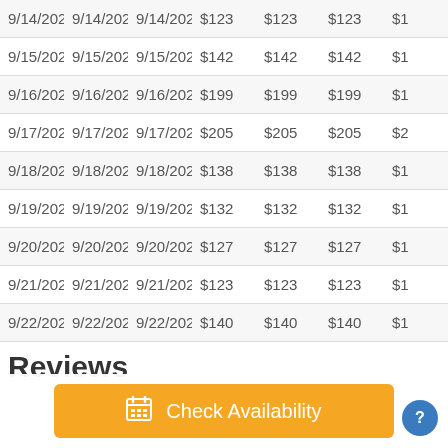| Date | Date | Date | $ | $ | $ | $ |
| --- | --- | --- | --- | --- | --- | --- |
| 9/14/2022 | 9/14/2022 | 9/14/2022 | $123 | $123 | $123 | $1 |
| 9/15/2022 | 9/15/2022 | 9/15/2022 | $142 | $142 | $142 | $1 |
| 9/16/2022 | 9/16/2022 | 9/16/2022 | $199 | $199 | $199 | $1 |
| 9/17/2022 | 9/17/2022 | 9/17/2022 | $205 | $205 | $205 | $2 |
| 9/18/2022 | 9/18/2022 | 9/18/2022 | $138 | $138 | $138 | $1 |
| 9/19/2022 | 9/19/2022 | 9/19/2022 | $132 | $132 | $132 | $1 |
| 9/20/2022 | 9/20/2022 | 9/20/2022 | $127 | $127 | $127 | $1 |
| 9/21/2022 | 9/21/2022 | 9/21/2022 | $123 | $123 | $123 | $1 |
| 9/22/2022 | 9/22/2022 | 9/22/2022 | $140 | $140 | $140 | $1 |
Reviews
Check Availability